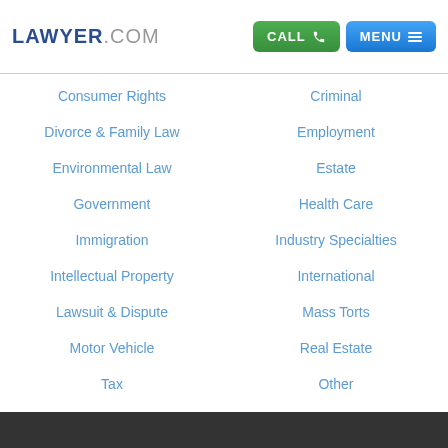LAWYER.COM | CALL | MENU
Consumer Rights
Criminal
Divorce & Family Law
Employment
Environmental Law
Estate
Government
Health Care
Immigration
Industry Specialties
Intellectual Property
International
Lawsuit & Dispute
Mass Torts
Motor Vehicle
Real Estate
Tax
Other